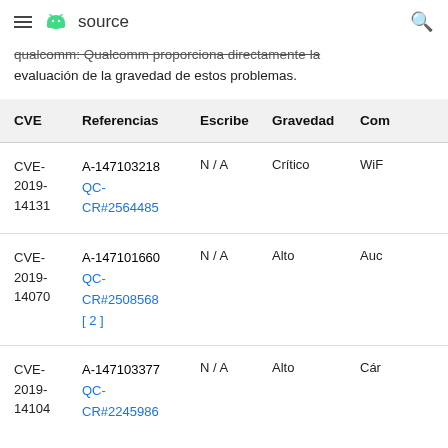≡  🤖 source   🔍
Qualcomm: Qualcomm proporciona directamente la evaluación de la gravedad de estos problemas.
| CVE | Referencias | Escribe | Gravedad | Com |
| --- | --- | --- | --- | --- |
| CVE-2019-14131 | A-147103218
QC-CR#2564485 | N / A | Crítico | WiF |
| CVE-2019-14070 | A-147101660
QC-CR#2508568
[2] | N / A | Alto | Auc |
| CVE-2019-14104 | A-147103377
QC-CR#2245986 | N / A | Alto | Cár |